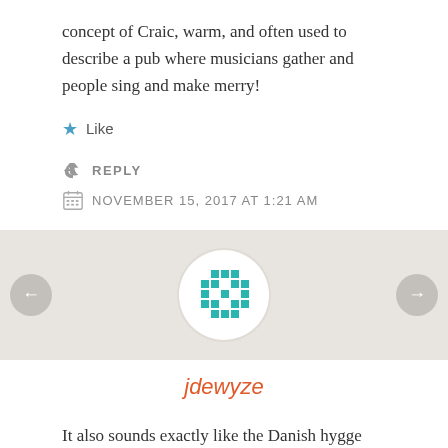concept of Craic, warm, and often used to describe a pub where musicians gather and people sing and make merry!
★ Like
↪ REPLY
NOVEMBER 15, 2017 AT 1:21 AM
[Figure (illustration): Circular avatar icon with a teal pixel/dot grid pattern on white background, navigation arrows on left and right]
jdewyze
It also sounds exactly like the Danish hygge (coziness and conviviality). I guess that's not surprising; the two countries are pretty close. But it's interesting that the two words sound so different! Wonderful photos.